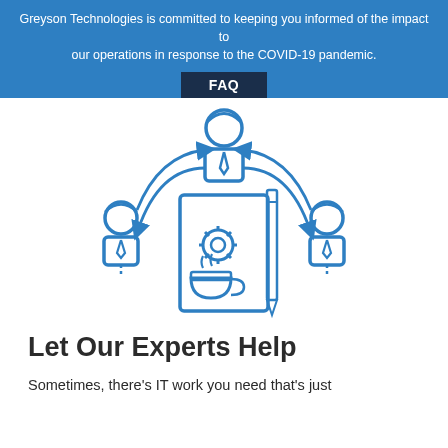Greyson Technologies is committed to keeping you informed of the impact to our operations in response to the COVID-19 pandemic.
FAQ
[Figure (illustration): Blue line-art illustration showing three business people figures arranged around a central document/clipboard with a gear icon, a pencil, and a coffee cup, with circular arrows connecting them, representing collaborative IT or managed services.]
Let Our Experts Help
Sometimes, there's IT work you need that's just